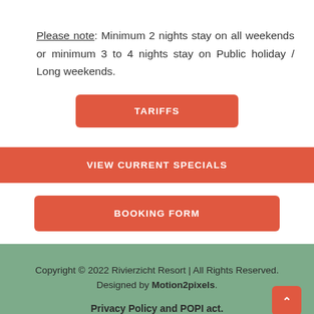Please note: Minimum 2 nights stay on all weekends or minimum 3 to 4 nights stay on Public holiday / Long weekends.
TARIFFS
VIEW CURRENT SPECIALS
BOOKING FORM
Copyright © 2022 Rivierzicht Resort | All Rights Reserved. Designed by Motion2pixels. Privacy Policy and POPI act.